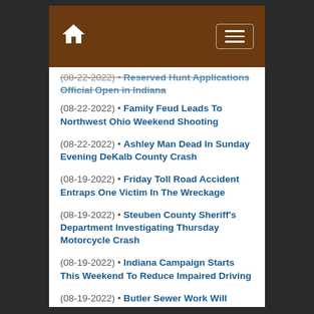Home / Menu navigation bar
(08-22-2022) • Reserved Hunt Applications Official Open in Indiana
(08-22-2022) • Family Feud Leads To Northwest Ohio Weekend Shooting
(08-22-2022) • Ashley Man Dead In Sunday Evening DeKalb County Crash
(08-19-2022) • Friday Toll Road Accident Entraps One Victim In The Wreckage
(08-19-2022) • Steuben County Sheriff's Department Investigating Thursday Motorcycle Crash
(08-19-2022) • Indiana Campaign Starts This Weekend To Reduce Impaired Driving
(08-19-2022) • Butler Sewer Work Will Close A Portion of State Road 1
(08-19-2022) • Hoosier Taxpayers Are Already Seeing $200 Refunds